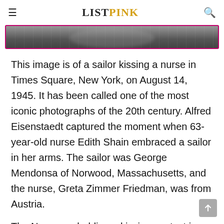ListPink
[Figure (photo): Partial black and white photograph of a sailor kissing a nurse in Times Square, cropped at the top of the page, shown within a pink-bordered strip]
This image is of a sailor kissing a nurse in Times Square, New York, on August 14, 1945. It has been called one of the most iconic photographs of the 20th century. Alfred Eisenstaedt captured the moment when 63-year-old nurse Edith Shain embraced a sailor in her arms. The sailor was George Mendonsa of Norwood, Massachusetts, and the nurse, Greta Zimmer Friedman, was from Austria.
The Navy was holding a kissing contest in Times Square to celebrate the end of World War II. Eisenstaedt said that what makes the image so powerful is the expression of Friedman's face.